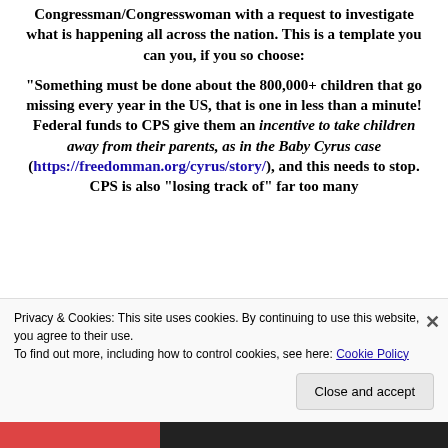Congressman/Congresswoman with a request to investigate what is happening all across the nation. This is a template you can you, if you so choose:
“Something must be done about the 800,000+ children that go missing every year in the US, that is one in less than a minute! Federal funds to CPS give them an incentive to take children away from their parents, as in the Baby Cyrus case (https://freedomman.org/cyrus/story/), and this needs to stop. CPS is also “losing track of” far too many
Privacy & Cookies: This site uses cookies. By continuing to use this website, you agree to their use.
To find out more, including how to control cookies, see here: Cookie Policy